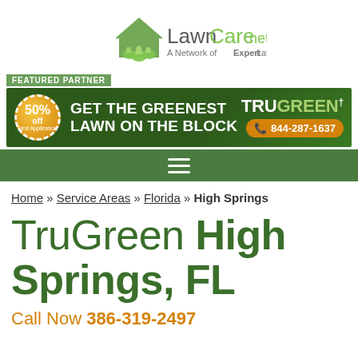[Figure (logo): LawnCare.net logo with house and grass icon, text 'LawnCare.net' and tagline 'A Network of Expert Lawn Care Professionals']
[Figure (infographic): TruGreen featured partner ad banner: '50% off First Application', 'GET THE GREENEST LAWN ON THE BLOCK', TruGreen logo, phone 844-287-1637]
Home » Service Areas » Florida » High Springs
TruGreen High Springs, FL
Call Now 386-319-2497